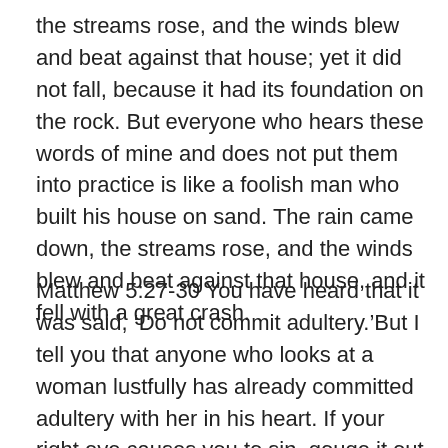the streams rose, and the winds blew and beat against that house; yet it did not fall, because it had its foundation on the rock. But everyone who hears these words of mine and does not put them into practice is like a foolish man who built his house on sand. The rain came down, the streams rose, and the winds blew and beat against that house, and it fell with a great crash.
Matthew 5:27-30 You have heard that it was said, ‘Do not commit adultery.’But I tell you that anyone who looks at a woman lustfully has already committed adultery with her in his heart. If your right eye causes you to sin, gouge it out and throw it away. It is better for you to lose one part of your body than for your whole body to be thrown into hell. And if your right hand causes you to sin, cut it off and throw it away. It is better for you to lose one part of your body than for your whole body to go into hell.